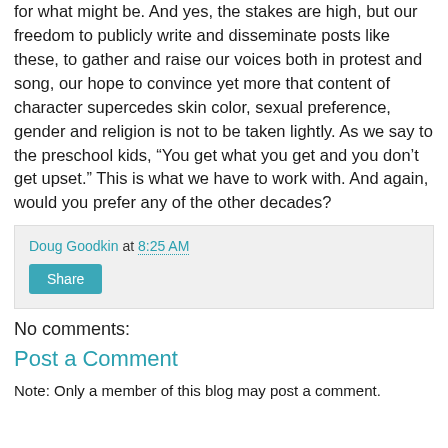for what might be. And yes, the stakes are high, but our freedom to publicly write and disseminate posts like these, to gather and raise our voices both in protest and song, our hope to convince yet more that content of character supercedes skin color, sexual preference, gender and religion is not to be taken lightly. As we say to the preschool kids, “You get what you get and you don’t get upset.” This is what we have to work with. And again, would you prefer any of the other decades?
Doug Goodkin at 8:25 AM
Share
No comments:
Post a Comment
Note: Only a member of this blog may post a comment.